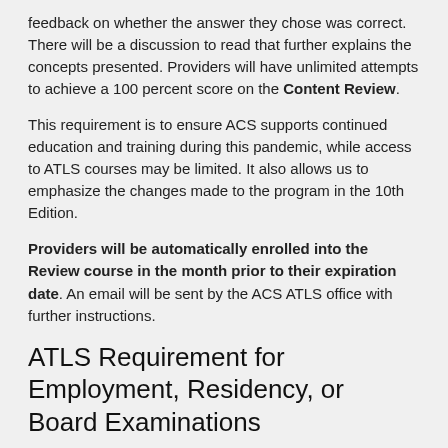feedback on whether the answer they chose was correct. There will be a discussion to read that further explains the concepts presented. Providers will have unlimited attempts to achieve a 100 percent score on the Content Review.
This requirement is to ensure ACS supports continued education and training during this pandemic, while access to ATLS courses may be limited. It also allows us to emphasize the changes made to the program in the 10th Edition.
Providers will be automatically enrolled into the Review course in the month prior to their expiration date. An email will be sent by the ACS ATLS office with further instructions.
ATLS Requirement for Employment, Residency, or Board Examinations
Letter to Hospital Administrators and Residency Directors
For providers who have not yet taken ATLS but require it for employment, residency, or Board examinations, we continue to recommend a staged approach to training for these providers. They should attempt to register for an ATLS Hybrid Course in their area, which will provide immediate access to the mATLS online modules.